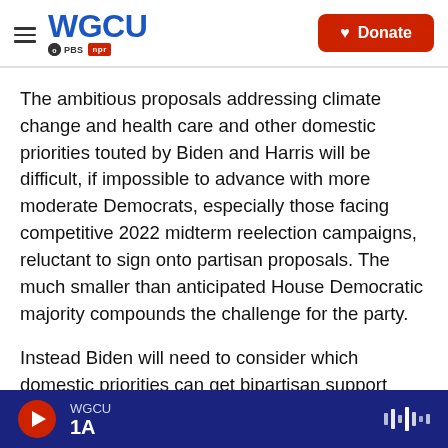WGCU PBS NPR — Donate
The ambitious proposals addressing climate change and health care and other domestic priorities touted by Biden and Harris will be difficult, if impossible to advance with more moderate Democrats, especially those facing competitive 2022 midterm reelection campaigns, reluctant to sign onto partisan proposals. The much smaller than anticipated House Democratic majority compounds the challenge for the party.
Instead Biden will need to consider which domestic priorities can get bipartisan support since Senate
WGCU 1A